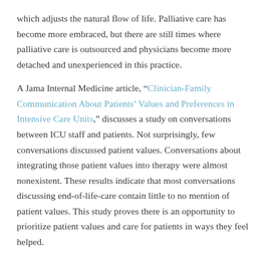which adjusts the natural flow of life. Palliative care has become more embraced, but there are still times where palliative care is outsourced and physicians become more detached and unexperienced in this practice.
A Jama Internal Medicine article, “Clinician-Family Communication About Patients’ Values and Preferences in Intensive Care Units,” discusses a study on conversations between ICU staff and patients. Not surprisingly, few conversations discussed patient values. Conversations about integrating those patient values into therapy were almost nonexistent. These results indicate that most conversations discussing end-of-life-care contain little to no mention of patient values. This study proves there is an opportunity to prioritize patient values and care for patients in ways they feel helped.